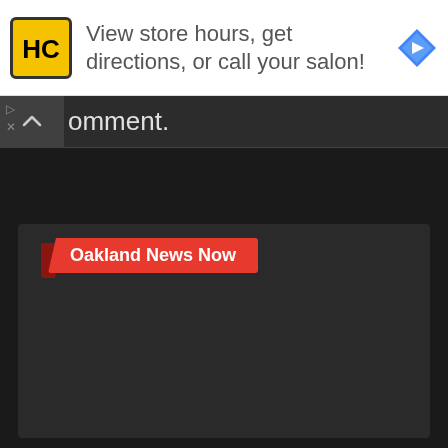[Figure (logo): HC logo in yellow square with navigation arrow icon — advertisement banner: 'View store hours, get directions, or call your salon!']
View store hours, get directions, or call your salon!
omment.
[Figure (screenshot): Oakland News Now media card with red label 'Oakland News Now' and blurred OAK letters image below on dark background]